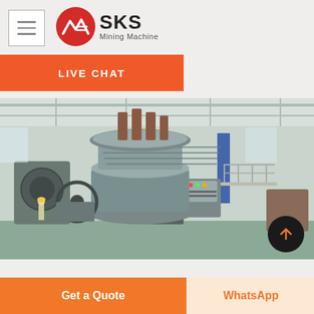SKS Mining Machine
LIVE CHAT
[Figure (photo): Industrial mining machinery (cone crusher) inside a large factory/warehouse. The machine is a large grey cone crusher with control panel, viewed from the factory floor. A worker in a hard hat is visible in the background on the left. The factory has high ceilings with natural light from skylights.]
Get a Quote
WhatsApp